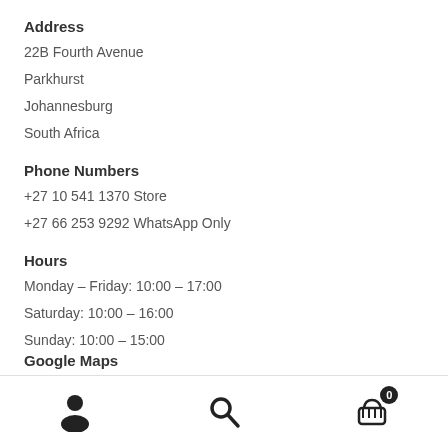Address
22B Fourth Avenue
Parkhurst
Johannesburg
South Africa
Phone Numbers
+27 10 541 1370 Store
+27 66 253 9292 WhatsApp Only
Hours
Monday – Friday: 10:00 – 17:00
Saturday: 10:00 – 16:00
Sunday: 10:00 – 15:00
Google Maps
[Figure (map): Google Maps embed showing Parkhurst area with 4th Avenue, 14th Place visible]